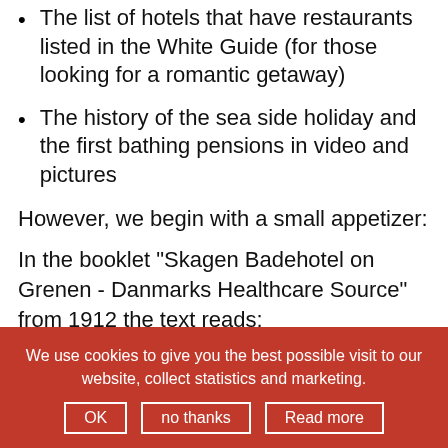The list of hotels that have restaurants listed in the White Guide (for those looking for a romantic getaway)
The history of the sea side holiday and the first bathing pensions in video and pictures
However, we begin with a small appetizer:
In the booklet "Skagen Badehotel on Grenen - Danmarks Healthcare Source" from 1912 the text reads:
"You get out of bed, go to the window and open it! The air from the sea flows in, fresh, pure, salty, that you can probably feel it on your tongue, like a salty bite in your mouth."
We use cookies to give you the best possible visit to our website, collect statistics and marketing. OK  no thanks  Read more